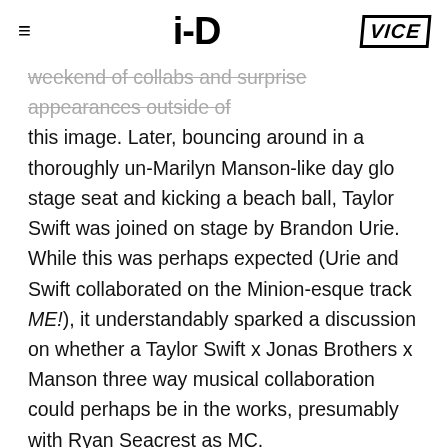≡   i-D   VICE
weekend of collabs and surprise appearances outside of this image. Later, bouncing around in a thoroughly un-Marilyn Manson-like day glo stage seat and kicking a beach ball, Taylor Swift was joined on stage by Brandon Urie. While this was perhaps expected (Urie and Swift collaborated on the Minion-esque track ME!), it understandably sparked a discussion on whether a Taylor Swift x Jonas Brothers x Manson three way musical collaboration could perhaps be in the works, presumably with Ryan Seacrest as MC.